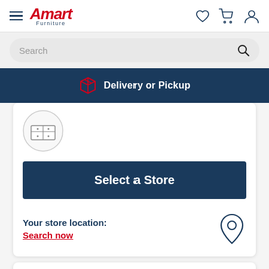Amart Furniture
Search
Delivery or Pickup
[Figure (screenshot): Product thumbnail icon in a circle]
Select a Store
Your store location:
Search now
Product Description